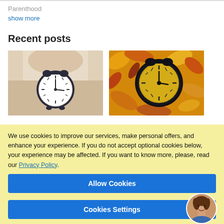Parenthood
show more
Recent posts
[Figure (photo): Hand holding an alarm clock against a soft beige/cream background]
[Figure (photo): Black alarm clock lying on autumn yellow and red leaves]
We use cookies to improve our services, make personal offers, and enhance your experience. If you do not accept optional cookies below, your experience may be affected. If you want to know more, please, read our Privacy Policy.
Allow Cookies
Cookies Settings